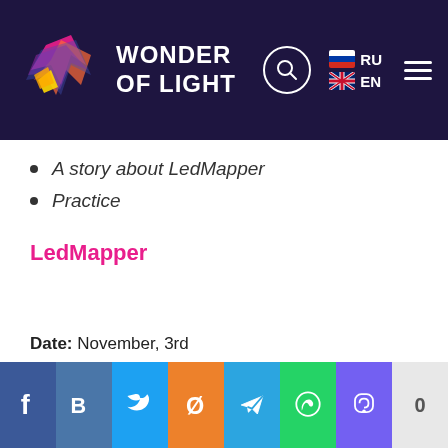WONDER OF LIGHT
A story about LedMapper
Practice
LedMapper
Date: November, 3rd